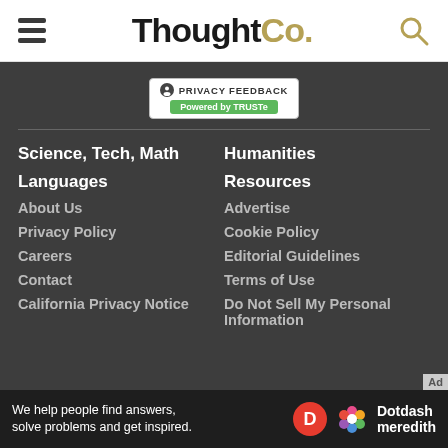ThoughtCo.
[Figure (logo): Privacy Feedback badge powered by TRUSTe]
Science, Tech, Math
Humanities
Languages
Resources
About Us
Advertise
Privacy Policy
Cookie Policy
Careers
Editorial Guidelines
Contact
Terms of Use
California Privacy Notice
Do Not Sell My Personal Information
We help people find answers, solve problems and get inspired. Dotdash meredith